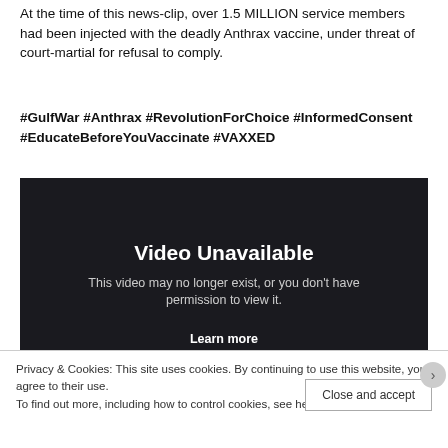At the time of this news-clip, over 1.5 MILLION service members had been injected with the deadly Anthrax vaccine, under threat of court-martial for refusal to comply.
#GulfWar #Anthrax #RevolutionForChoice #InformedConsent #EducateBeforeYouVaccinate #VAXXED
[Figure (screenshot): Video Unavailable screen from a video platform. Text reads: 'Video Unavailable. This video may no longer exist, or you don't have permission to view it. Learn more']
Privacy & Cookies: This site uses cookies. By continuing to use this website, you agree to their use.
To find out more, including how to control cookies, see here: Cookie Policy
Close and accept